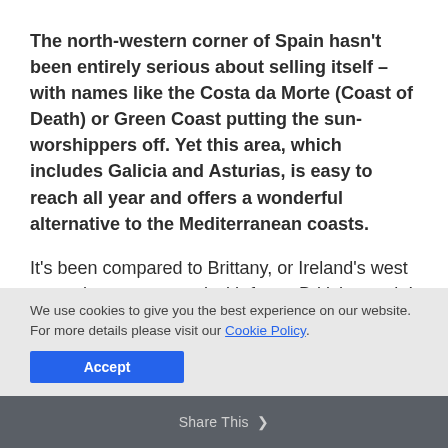The north-western corner of Spain hasn't been entirely serious about selling itself – with names like the Costa da Morte (Coast of Death) or Green Coast putting the sun-worshippers off. Yet this area, which includes Galicia and Asturias, is easy to reach all year and offers a wonderful alternative to the Mediterranean coasts.
It's been compared to Brittany, or Ireland's west coast, but warmer and with fewer British people! It
We use cookies to give you the best experience on our website. For more details please visit our Cookie Policy.
Accept
Share This ❯